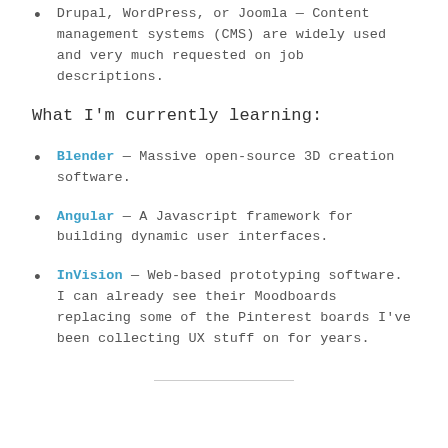Drupal, WordPress, or Joomla — Content management systems (CMS) are widely used and very much requested on job descriptions.
What I'm currently learning:
Blender — Massive open-source 3D creation software.
Angular — A Javascript framework for building dynamic user interfaces.
InVision — Web-based prototyping software. I can already see their Moodboards replacing some of the Pinterest boards I've been collecting UX stuff on for years.